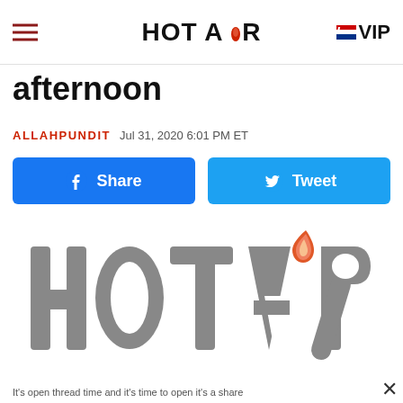HOT AiR  VIP
afternoon
ALLAHPUNDIT  Jul 31, 2020 6:01 PM ET
[Figure (logo): HotAir logo large gray text with flame icon]
It's open thread time and it's time to open it's a share